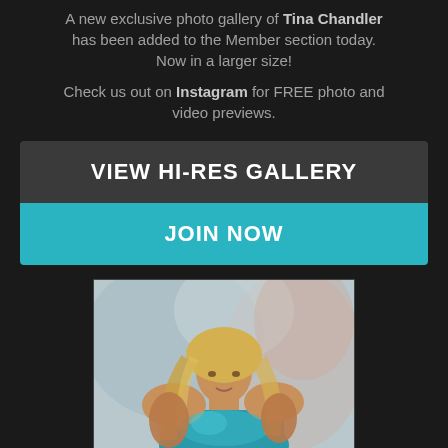A new exclusive photo gallery of Tina Chandler has been added to the Member section today. Now in a larger size!
Check us out on Instagram for FREE photo and video previews.
VIEW HI-RES GALLERY
JOIN NOW
[Figure (photo): A muscular blonde woman posing in a teal/turquoise metallic top against a muted blue-grey background]